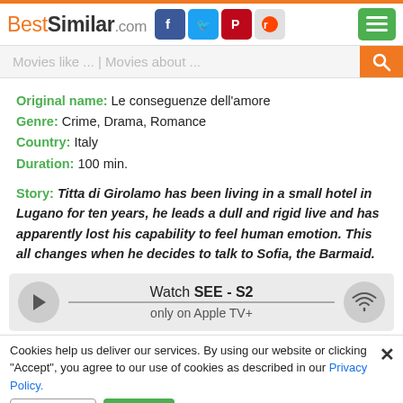BestSimilar.com
Movies like ... | Movies about ...
Original name: Le conseguenze dell'amore
Genre: Crime, Drama, Romance
Country: Italy
Duration: 100 min.
Story: Titta di Girolamo has been living in a small hotel in Lugano for ten years, he leads a dull and rigid live and has apparently lost his capability to feel human emotion. This all changes when he decides to talk to Sofia, the Barmaid.
[Figure (infographic): Watch bar with play button, 'Watch SEE - S2 / only on Apple TV+' text, and wifi icon]
Cookies help us deliver our services. By using our website or clicking "Accept", you agree to our use of cookies as described in our Privacy Policy.
Preferences   Accept
Plot: There are interesting more loneliness, their fall in love...